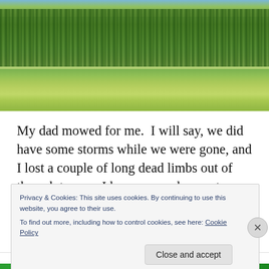[Figure (photo): Photograph of a cornfield with tall green corn stalks in the background, green grassy foreground, and trees visible at the top edge under a blue sky.]
My dad mowed for me.  I will say, we did have some storms while we were gone, and I lost a couple of long dead limbs out of the oak tree, so I have some cleanup to
Privacy & Cookies: This site uses cookies. By continuing to use this website, you agree to their use.
To find out more, including how to control cookies, see here: Cookie Policy
Close and accept